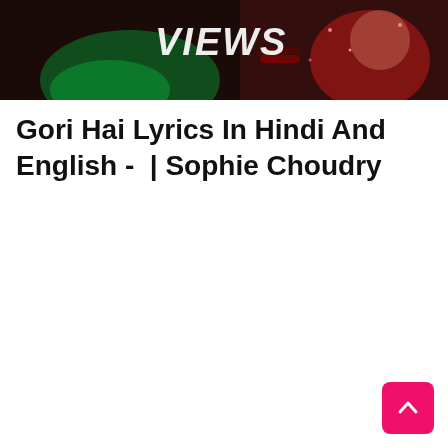[Figure (photo): A photo showing the word VIEWS in white italic text over a dark background with a woman in a red sequined outfit and green lighting effects.]
Gori Hai Lyrics In Hindi And English -  | Sophie Choudry